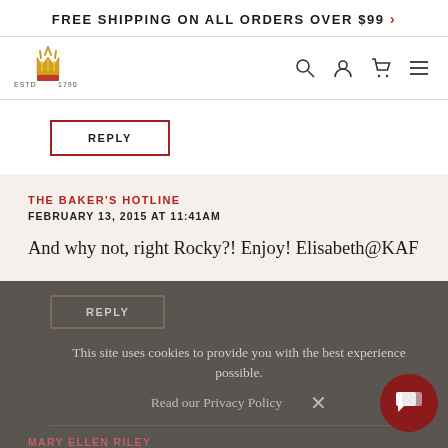FREE SHIPPING ON ALL ORDERS OVER $99 >
[Figure (logo): King Arthur Flour logo with crown/wheat icon, ESTD 1790]
REPLY
THE BAKER'S HOTLINE
FEBRUARY 13, 2015 AT 11:41AM
And why not, right Rocky?! Enjoy! Elisabeth@KAF
REPLY
This site uses cookies to provide you with the best experience possible.
Read our Privacy Policy
MARY ELLEN RILEY